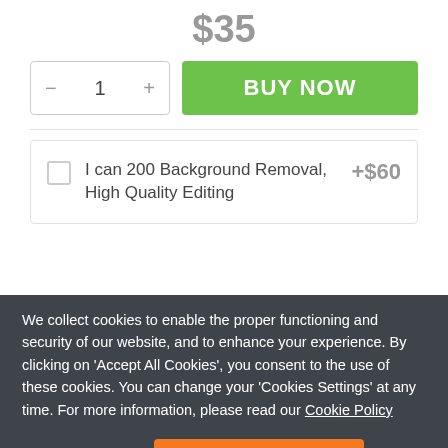$35
1
BUY NOW
I can 200 Background Removal, High Quality Editing
+$60
We collect cookies to enable the proper functioning and security of our website, and to enhance your experience. By clicking on 'Accept All Cookies', you consent to the use of these cookies. You can change your 'Cookies Settings' at any time. For more information, please read our Cookie Policy
Cookie Settings
ACCEPT ALL COOKIES